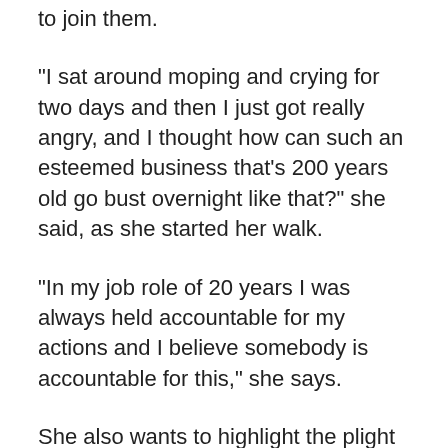to join them.
“I sat around moping and crying for two days and then I just got really angry, and I thought how can such an esteemed business that’s 200 years old go bust overnight like that?” she said, as she started her walk.
“In my job role of 20 years I was always held accountable for my actions and I believe somebody is accountable for this,” she says.
She also wants to highlight the plight of her colleagues, some of whom are couples who have both